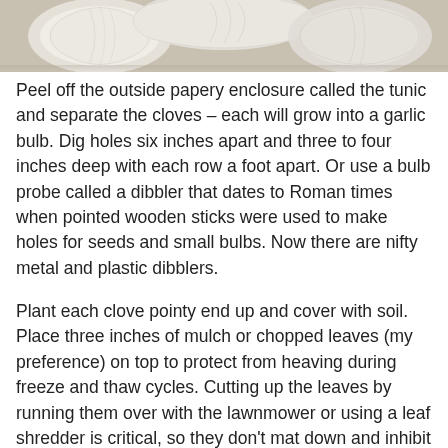[Figure (photo): Close-up photograph of garlic bulbs, showing white papery tunic and cloves]
Peel off the outside papery enclosure called the tunic and separate the cloves – each will grow into a garlic bulb. Dig holes six inches apart and three to four inches deep with each row a foot apart. Or use a bulb probe called a dibbler that dates to Roman times when pointed wooden sticks were used to make holes for seeds and small bulbs. Now there are nifty metal and plastic dibblers.
Plant each clove pointy end up and cover with soil. Place three inches of mulch or chopped leaves (my preference) on top to protect from heaving during freeze and thaw cycles. Cutting up the leaves by running them over with the lawnmower or using a leaf shredder is critical, so they don't mat down and inhibit